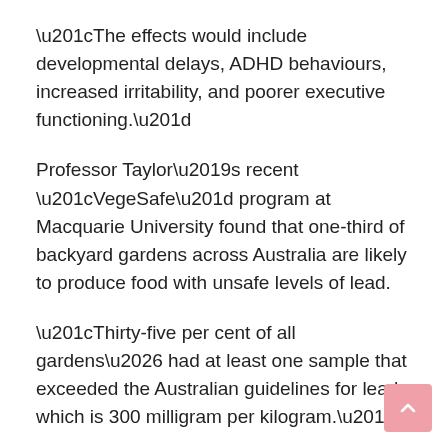“The effects would include developmental delays, ADHD behaviours, increased irritability, and poorer executive functioning.”
Professor Taylor’s recent “VegeSafe” program at Macquarie University found that one-third of backyard gardens across Australia are likely to produce food with unsafe levels of lead.
“Thirty-five per cent of all gardens… had at least one sample that exceeded the Australian guidelines for lead, which is 300 milligram per kilogram.”
Older houses, particularly painted ones, and those in areas with heavy traffic, had even higher readings.